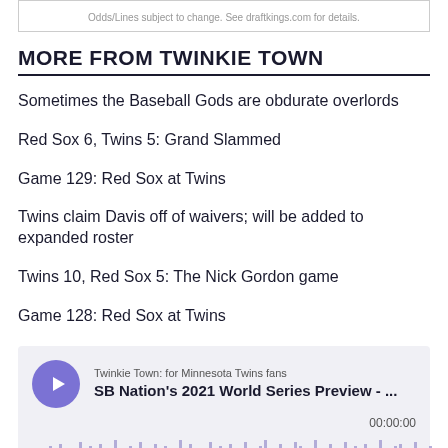Odds/Lines subject to change. See draftkings.com for details.
MORE FROM TWINKIE TOWN
Sometimes the Baseball Gods are obdurate overlords
Red Sox 6, Twins 5: Grand Slammed
Game 129: Red Sox at Twins
Twins claim Davis off of waivers; will be added to expanded roster
Twins 10, Red Sox 5: The Nick Gordon game
Game 128: Red Sox at Twins
[Figure (other): Podcast player widget for 'SB Nation's 2021 World Series Preview - ...' from Twinkie Town: for Minnesota Twins fans. Shows play button, episode title, timestamp 00:00:00, and audio waveform.]